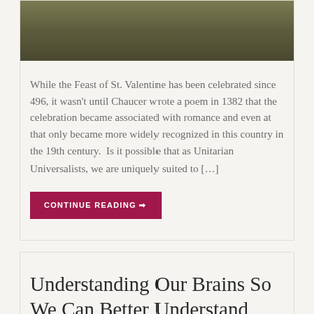[Figure (photo): Partial photo of a person wearing a dark olive/green jacket or coat, cropped to show mostly the torso/chest area]
While the Feast of St. Valentine has been celebrated since 496, it wasn't until Chaucer wrote a poem in 1382 that the celebration became associated with romance and even at that only became more widely recognized in this country in the 19th century.  Is it possible that as Unitarian Universalists, we are uniquely suited to […]
CONTINUE READING →
Understanding Our Brains So We Can Better Understand One